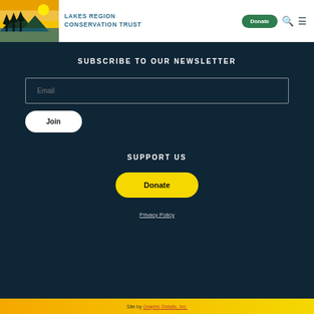LAKES REGION CONSERVATION TRUST
SUBSCRIBE TO OUR NEWSLETTER
Email
Join
SUPPORT US
Donate
Privacy Policy
Site by Graphic Details, Inc.